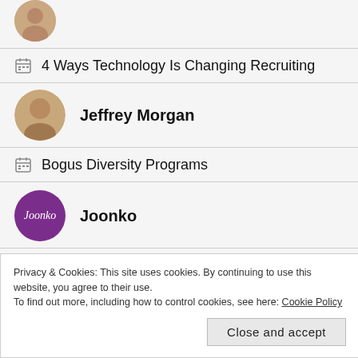[Figure (photo): Partial circular avatar photo of a person at top of page]
4 Ways Technology Is Changing Recruiting
[Figure (photo): Circular avatar photo of Jeffrey Morgan]
Jeffrey Morgan
Bogus Diversity Programs
[Figure (logo): Purple circular Joonko logo with white italic text]
Joonko
Through Their Eyes: Real Stories About Diversity
Privacy & Cookies: This site uses cookies. By continuing to use this website, you agree to their use.
To find out more, including how to control cookies, see here: Cookie Policy